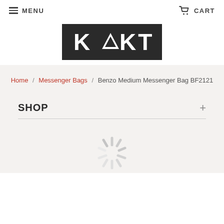MENU    CART
[Figure (logo): KARKT brand logo — white text on dark background with triangle replacing the A]
Home / Messenger Bags / Benzo Medium Messenger Bag BF2121
SHOP +
[Figure (other): Loading spinner graphic]